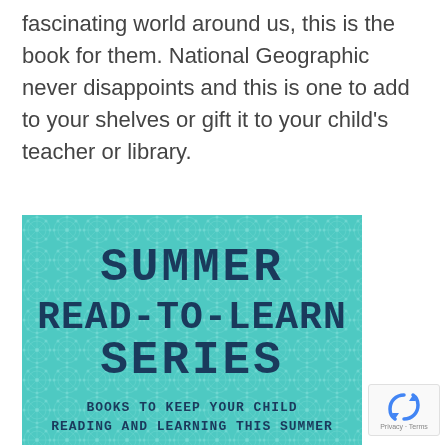fascinating world around us, this is the book for them. National Geographic never disappoints and this is one to add to your shelves or gift it to your child's teacher or library.
[Figure (illustration): Book cover graphic for 'Summer Read-To-Learn Series' with teal geometric patterned background, large dark blue stencil-style text reading 'SUMMER READ-TO-LEARN SERIES', and subtitle text 'BOOKS TO KEEP YOUR CHILD READING AND LEARNING THIS SUMMER']